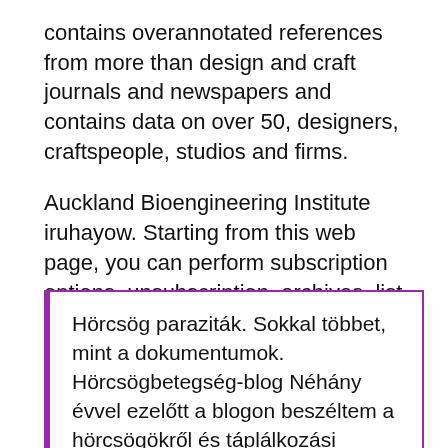contains overannotated references from more than design and craft journals and newspapers and contains data on over 50, designers, craftspeople, studios and firms.
Auckland Bioengineering Institute iruhayow. Starting from this web page, you can perform subscription options, unsubscription, archives, list management and so on. All lists will have a [email protected] name.
All of these lists can.
Hörcsög paraziták. Sokkal többet, mint a dokumentumok. Hörcsögbetegség-blog Néhány évvel ezelőtt a blogon beszéltem a hörcsögökről és táplálkozási követelményeikről. Ma beszélünk a leggyakoribb betegségekről, amelyekkel kedvence szembesülhet. Felhívjuk figyelmét, hogy a